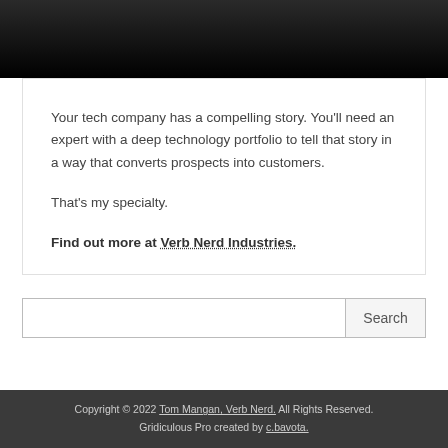[Figure (photo): Dark hero image at the top of the page, gradient from dark gray to black]
Your tech company has a compelling story. You'll need an expert with a deep technology portfolio to tell that story in a way that converts prospects into customers.

That's my specialty.

Find out more at Verb Nerd Industries.
Search
Copyright © 2022 Tom Mangan, Verb Nerd. All Rights Reserved. Gridiculous Pro created by c.bavota.